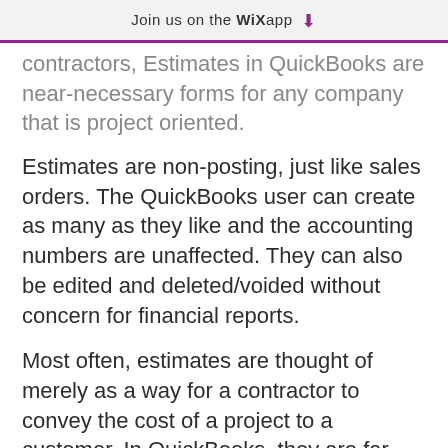Join us on the WiX app ⬇
contractors, Estimates in QuickBooks are near-necessary forms for any company that is project oriented.
Estimates are non-posting, just like sales orders. The QuickBooks user can create as many as they like and the accounting numbers are unaffected. They can also be edited and deleted/voided without concern for financial reports.
Most often, estimates are thought of merely as a way for a contractor to convey the cost of a project to a customer. In QuickBooks, they are far more than that.